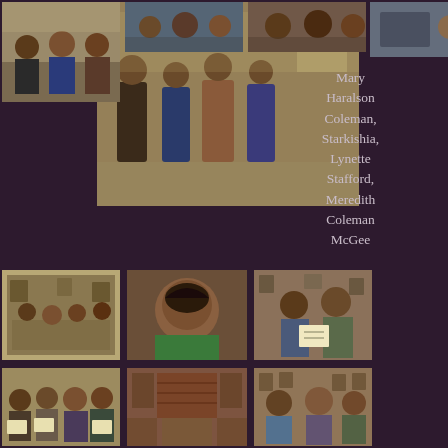[Figure (photo): Group of people standing indoors in a classroom or community room setting]
[Figure (photo): Group of people standing indoors near a table]
[Figure (photo): Group of people standing indoors]
Mary Haralson Coleman, Starkishia, Lynette Stafford, Meredith Coleman McGee
[Figure (photo): People gathered in a room with framed pictures on the wall]
[Figure (photo): Close-up portrait of a smiling woman in a green top]
[Figure (photo): Two people standing with a certificate or award]
[Figure (photo): Group of women holding certificates]
[Figure (photo): Indoor room with fireplace or brick wall]
[Figure (photo): People gathered indoors in a room with framed pictures]